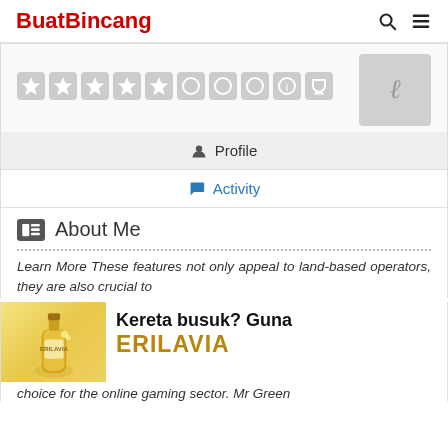BuatBincang
[Figure (screenshot): User profile page with rating stars and avatar placeholder]
Profile
Activity
About Me
Learn More These features not only appeal to land-based operators, they are also crucial to
[Figure (advertisement): Kereta busuk? Guna ERILAVIA advertisement with product bottle image]
choice for the online gaming sector. Mr Green